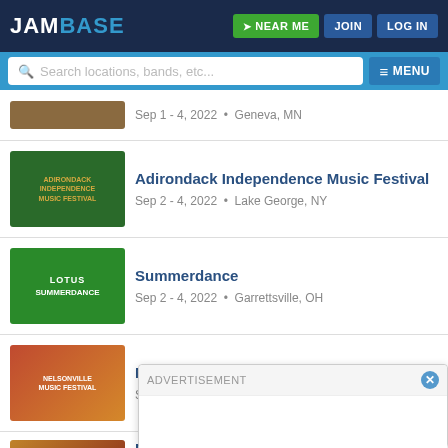JamBase | NEAR ME | JOIN | LOG IN
Search locations, bands, etc... MENU
Sep 1 - 4, 2022 • Geneva, MN
Adirondack Independence Music Festival
Sep 2 - 4, 2022 • Lake George, NY
Summerdance
Sep 2 - 4, 2022 • Garrettsville, OH
Nelsonville Music Festival
Sep 2 - 4, 2022 • Nelsonville, OH
Beyond the Blue IV
ADVERTISEMENT